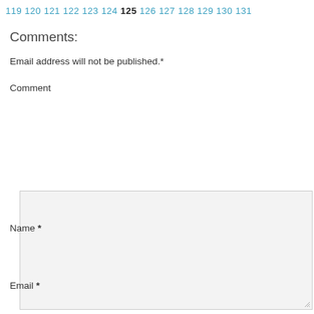119 120 121 122 123 124 125 126 127 128 129 130 131
Comments:
Email address will not be published.*
Comment
Name *
Email *